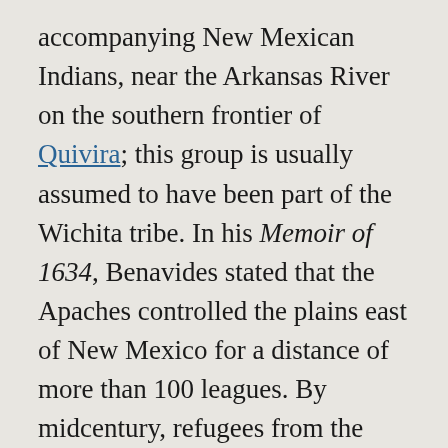accompanying New Mexican Indians, near the Arkansas River on the southern frontier of Quivira; this group is usually assumed to have been part of the Wichita tribe. In his Memoir of 1634, Benavides stated that the Apaches controlled the plains east of New Mexico for a distance of more than 100 leagues. By midcentury, refugees from the plains were sheltered in New Mexico, and others had withdrawn to the Río Nueces (the region of the upper Colorado and Concho, near the site of San Angelo). Spanish expeditions traveled there by descending the Pecos. However, this route was early abandoned by the Jumanos, probably because of the Apache occupancy of the Guadalupe Mountains. The Río Nueces was linked to La Junta by a chain of Jumano settlements on the lower Pecos